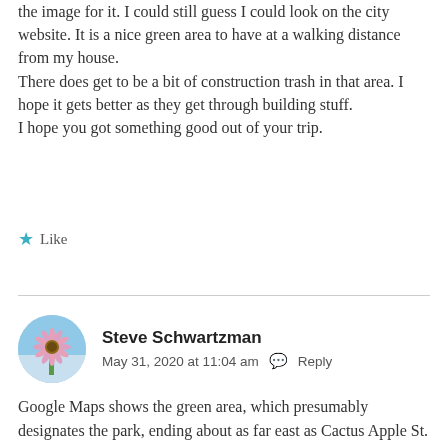the image for it. I could still guess I could look on the city website. It is a nice green area to have at a walking distance from my house.
There does get to be a bit of construction trash in that area. I hope it gets better as they get through building stuff.
I hope you got something good out of your trip.
★ Like
[Figure (photo): Circular avatar photo of a pink flower (daisy-like) with a blue sky background, representing user Steve Schwartzman]
Steve Schwartzman
May 31, 2020 at 11:04 am  Reply
Google Maps shows the green area, which presumably designates the park, ending about as far east as Cactus Apple St. How accurate the